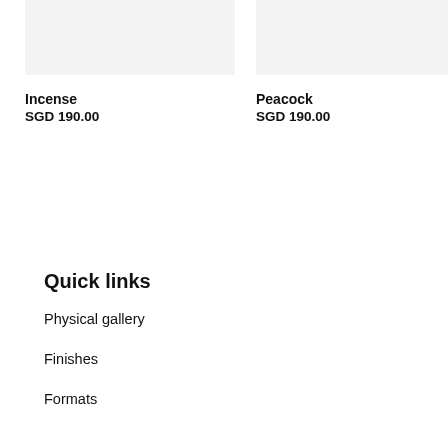[Figure (photo): Product image placeholder for Incense, light grey background]
Incense
SGD 190.00
[Figure (photo): Product image placeholder for Peacock, light grey background]
Peacock
SGD 190.00
Quick links
Physical gallery
Finishes
Formats